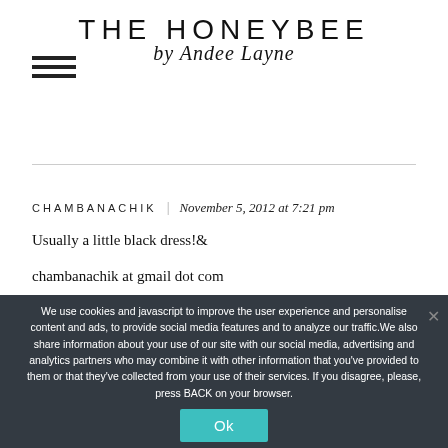THE HONEYBEE by Andee Layne
CHAMBANACHIK  |  November 5, 2012 at 7:21 pm
Usually a little black dress!🔇
chambanachik at gmail dot com
We use cookies and javascript to improve the user experience and personalise content and ads, to provide social media features and to analyze our traffic.We also share information about your use of our site with our social media, advertising and analytics partners who may combine it with other information that you've provided to them or that they've collected from your use of their services. If you disagree, please, press BACK on your browser.